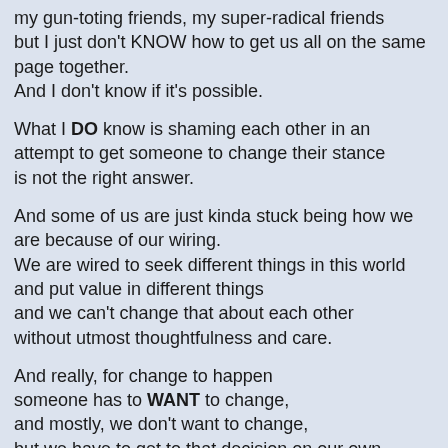my gun-toting friends, my super-radical friends but I just don't KNOW how to get us all on the same page together.
And I don't know if it's possible.
What I DO know is shaming each other in an attempt to get someone to change their stance
is not the right answer.
And some of us are just kinda stuck being how we are because of our wiring.
We are wired to seek different things in this world
and put value in different things
and we can't change that about each other
without utmost thoughtfulness and care.
And really, for change to happen
someone has to WANT to change,
and mostly, we don't want to change,
but we have to get to that decision on our own.
If you ever want to talk to me about why gay marriage is so